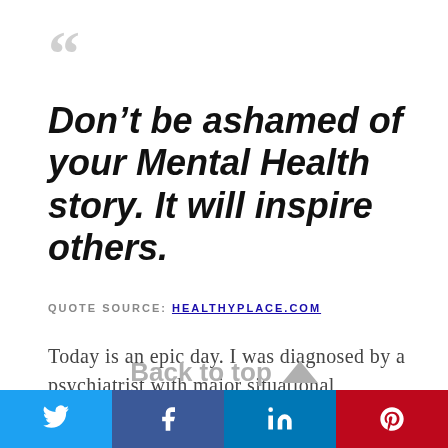[Figure (illustration): Large decorative opening quotation mark in light gray]
Don’t be ashamed of your Mental Health story. It will inspire others.
QUOTE SOURCE: HEALTHYPLACE.COM
Today is an epic day. I was diagnosed by a psychiatrist with major situational depression.
Back to top
[Figure (infographic): Social share buttons: Twitter, Facebook, LinkedIn, Pinterest]